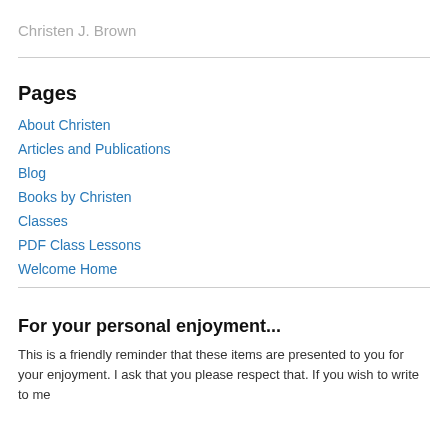Christen J. Brown
Pages
About Christen
Articles and Publications
Blog
Books by Christen
Classes
PDF Class Lessons
Welcome Home
For your personal enjoyment...
This is a friendly reminder that these items are presented to you for your enjoyment. I ask that you please respect that. If you wish to write to me